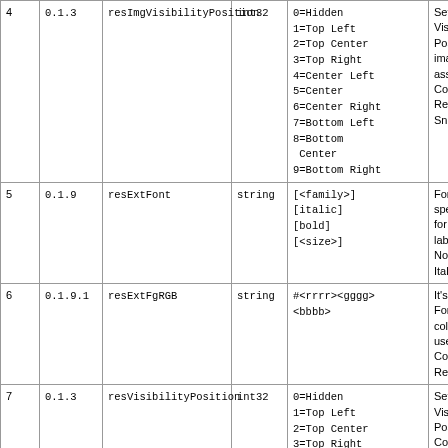| # | Ver | Name | Type | Values | Description |
| --- | --- | --- | --- | --- | --- |
| 4 | 0.1.3 | resImgVisibilityPosition | int32 | 0=Hidden
1=Top Left
2=Top Center
3=Top Right
4=Center Left
5=Center
6=Center Right
7=Bottom Left
8=Bottom Center
9=Bottom Right | Sets Visibility Position image assoc Comm Resu Snipp |
| 5 | 0.1.9 | resExtFont | string | [<family>]
[italic]
[bold]
[<size>] | Font speci for Re label Nokia Italic |
| 6 | 0.1.9.1 | resExtFgRGB | string | #<rrrr><gggg><bbbb> | It's th Foreg color used Comm Resu |
| 7 | 0.1.3 | resVisibilityPosition | int32 | 0=Hidden
1=Top Left
2=Top Center
3=Top Right
4=Center Left
5=Center | Sets t Visib Posit Comm Resu |